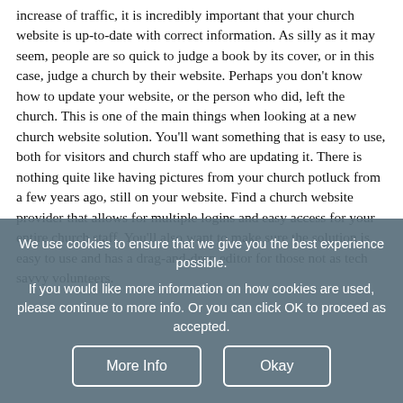increase of traffic, it is incredibly important that your church website is up-to-date with correct information. As silly as it may seem, people are so quick to judge a book by its cover, or in this case, judge a church by their website. Perhaps you don't know how to update your website, or the person who did, left the church. This is one of the main things when looking at a new church website solution. You'll want something that is easy to use, both for visitors and church staff who are updating it. There is nothing quite like having pictures from your church potluck from a few years ago, still on your website. Find a church website provider that allows for multiple logins and easy access for your entire church staff. You'll also want to make sure the solution is easy to use and has a drag-and-drop editor for those not as tech savvy volunteers.
We use cookies to ensure that we give you the best experience possible.
If you would like more information on how cookies are used, please continue to more info. Or you can click OK to proceed as accepted.